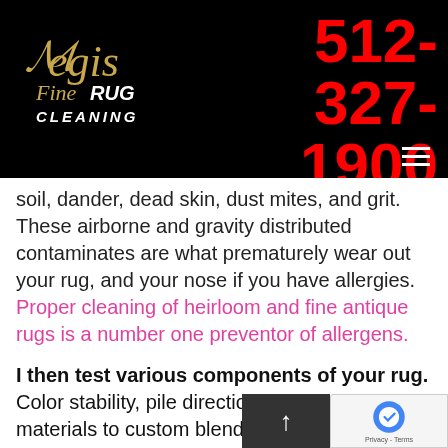[Figure (logo): Aegis Fine Rug Cleaning logo with gold script text on black background]
512-327-1900
soil, dander, dead skin, dust mites, and grit. These airborne and gravity distributed contaminates are what prematurely wear out your rug, and your nose if you have allergies. Proper cleaning of heirloom and fine antique rugs is a number one preventor of allergens.
I then test various components of your rug. Color stability, pile direction, construction and materials to custom blend the perfect environmentally friendly cleansing “cocktail” for your individual rug. Since I am not a franchise